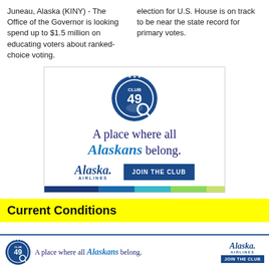Juneau, Alaska (KINY) - The Office of the Governor is looking spend up to $1.5 million on educating voters about ranked-choice voting.
election for U.S. House is on track to be near the state record for primary votes.
[Figure (illustration): Alaska Airlines Club 49 advertisement. Features a circular Club 49 badge/logo at top, text reading 'A place where all Alaskans belong.' with Alaska Airlines logo and a 'JOIN THE CLUB' button. Bottom has a color bar in blue, teal, and green segments.]
Current Conditions
[Figure (illustration): Alaska Airlines Club 49 banner ad at bottom of page. Features Club 49 badge, text 'A place where all Alaskans belong.' with Alaska Airlines logo and JOIN THE CLUB button.]